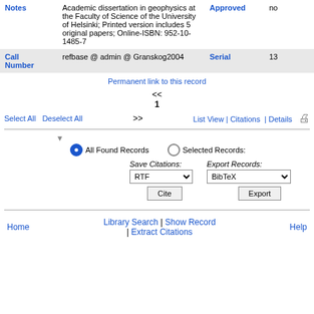| Area | Expedition | Conference |
| --- | --- | --- |
| Notes | Academic dissertation in geophysics at the Faculty of Science of the University of Helsinki; Printed version includes 5 original papers; Online-ISBN: 952-10-1485-7 | Approved | no |
| Call Number | refbase @ admin @ Granskog2004 | Serial | 13 |
Permanent link to this record
<<
1
>>
Select All   Deselect All   List View | Citations | Details
All Found Records   Selected Records:
Save Citations: RTF   Export Records: BibTeX
Cite   Export
Home   Library Search | Show Record | Extract Citations   Help